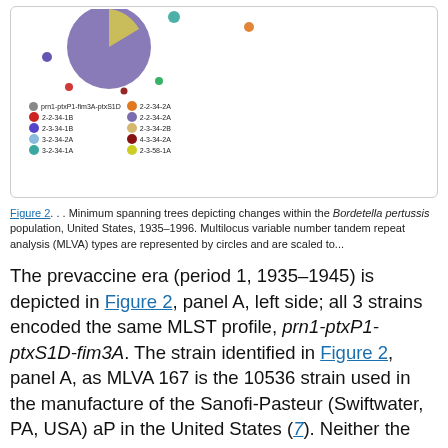[Figure (other): Top portion of a figure panel showing partial pie/bubble chart with colored circles representing MLVA types, along with a color legend grid showing various strain codes like prn1-ptxP1-fim3A-ptxS1D, 2-2-3A-2A, 2-2-34-1B, 2-3-34-1B, 3-2-34-2A, 2-2-34-2A, 2-3-34-2B, 4-3-34-2A, 3-2-34-1A, 2-3-58-1A]
Figure 2. . . Minimum spanning trees depicting changes within the Bordetella pertussis population, United States, 1935–1996. Multilocus variable number tandem repeat analysis (MLVA) types are represented by circles and are scaled to...
The prevaccine era (period 1, 1935–1945) is depicted in Figure 2, panel A, left side; all 3 strains encoded the same MLST profile, prn1-ptxP1-ptxS1D-fim3A. The strain identified in Figure 2, panel A, as MLVA 167 is the 10536 strain used in the manufacture of the Sanofi-Pasteur (Swiftwater, PA, USA) aP in the United States (7). Neither the MLVA types found (167 or 205) nor the MLST profile for period 1 are seen again in later periods. The dotted line between MLVA circles